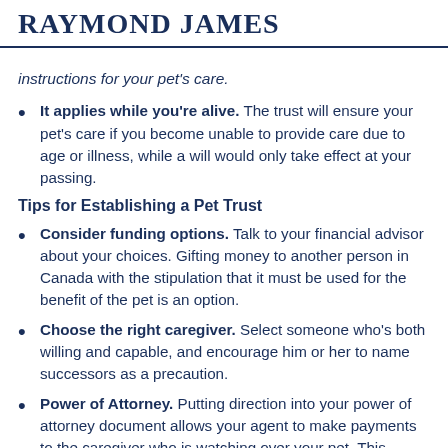RAYMOND JAMES
instructions for your pet's care.
It applies while you're alive. The trust will ensure your pet's care if you become unable to provide care due to age or illness, while a will would only take effect at your passing.
Tips for Establishing a Pet Trust
Consider funding options. Talk to your financial advisor about your choices. Gifting money to another person in Canada with the stipulation that it must be used for the benefit of the pet is an option.
Choose the right caregiver. Select someone who's both willing and capable, and encourage him or her to name successors as a precaution.
Power of Attorney. Putting direction into your power of attorney document allows your agent to make payments to the caregiver who is watching over your pet. This allows for payment for extraordinary veterinary bills or other expenses